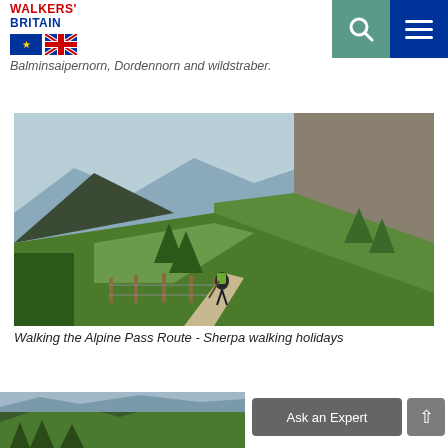WALKERS' BRITAIN
Balminsaipernorn, Dordennorn and wildstraber.
[Figure (photo): A hiker with a green backpack walking along a mountain trail in the Alps, with green meadows, trees, wooden fence posts, and mountain valley views in the background.]
Walking the Alpine Pass Route - Sherpa walking holidays
[Figure (photo): Partial view of another mountain or alpine landscape at the bottom of the page.]